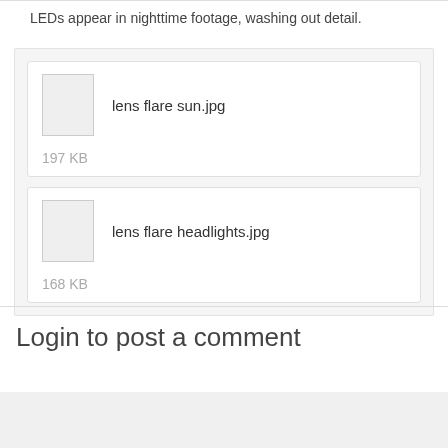LEDs appear in nighttime footage, washing out detail.
[Figure (other): File attachment card showing 'lens flare sun.jpg', 197 KB, with a thumbnail placeholder]
[Figure (other): File attachment card showing 'lens flare headlights.jpg', 168 KB, with a thumbnail placeholder]
Login to post a comment